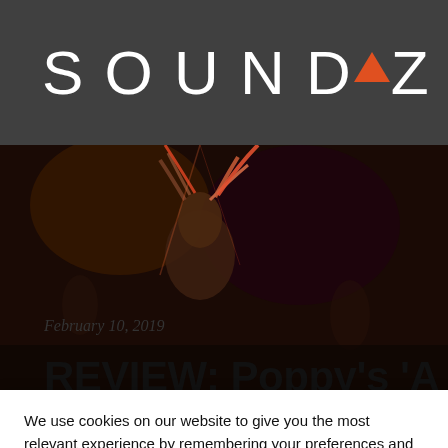[Figure (logo): SOUNDAZE logo with orange triangle replacing the letter A, white text on dark semi-transparent background]
[Figure (photo): Concert photo showing a performer on stage with colorful lighting, cropped view]
February 10, 2019
REVIEW: Poppy's 'Am I A Girl?' Tour at 9:30 Cl
We use cookies on our website to give you the most relevant experience by remembering your preferences and repeat visits. By clicking “Accept”, you consent to the use of ALL the cookies.
Do not sell my personal information.